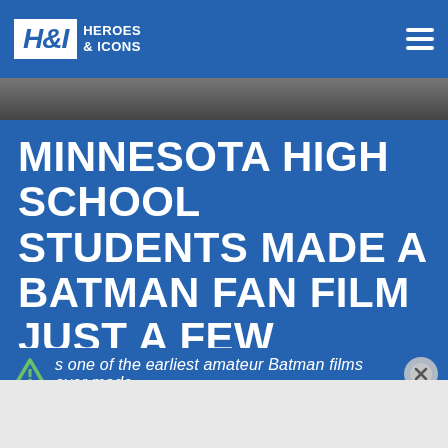H&I Heroes & Icons
MINNESOTA HIGH SCHOOL STUDENTS MADE A BATMAN FAN FILM JUST A FEW MONTHS AFTER THE SHOW PREMIERED IN 1966
s one of the earliest amateur Batman films ever made.